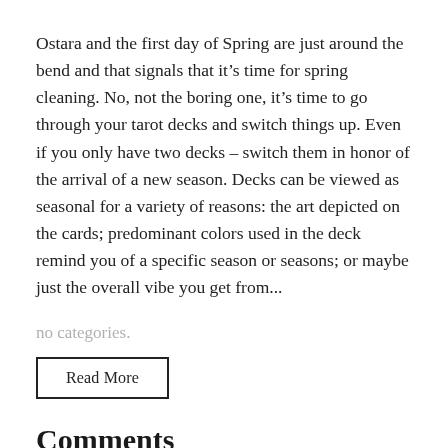Ostara and the first day of Spring are just around the bend and that signals that it’s time for spring cleaning. No, not the boring one, it’s time to go through your tarot decks and switch things up. Even if you only have two decks – switch them in honor of the arrival of a new season. Decks can be viewed as seasonal for a variety of reasons: the art depicted on the cards; predominant colors used in the deck remind you of a specific season or seasons; or maybe just the overall vibe you get from...
no categories.
Read More
Comments
View All 0 Comment(s).